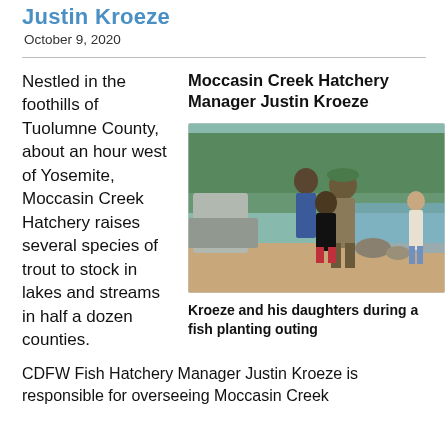Justin Kroeze
October 9, 2020
Nestled in the foothills of Tuolumne County, about an hour west of Yosemite, Moccasin Creek Hatchery raises several species of trout to stock in lakes and streams in half a dozen counties. CDFW Fish Hatchery Manager Justin Kroeze is responsible for overseeing Moccasin Creek
Moccasin Creek Hatchery Manager Justin Kroeze
[Figure (photo): Kroeze and his daughters standing outdoors near a creek and trees during a fish planting outing]
Kroeze and his daughters during a fish planting outing